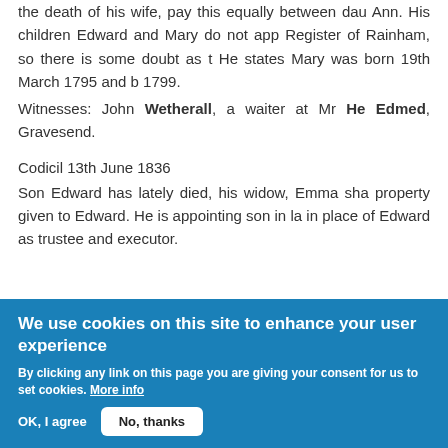He is bound by a bond for the payment of £150, his the death of his wife, pay this equally between dau Ann. His children Edward and Mary do not app Register of Rainham, so there is some doubt as t He states Mary was born 19th March 1795 and 1799.
Witnesses: John Wetherall, a waiter at Mr He Edmed, Gravesend.
Codicil 13th June 1836
Son Edward has lately died, his widow, Emma sha property given to Edward. He is appointing son in la in place of Edward as trustee and executor.
We use cookies on this site to enhance your user experience
By clicking any link on this page you are giving your consent for us to set cookies. More info
OK, I agree
No, thanks